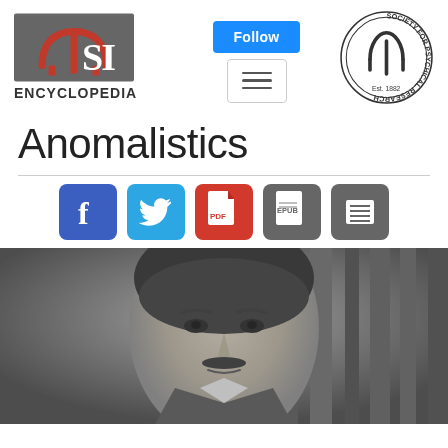[Figure (logo): PSI Encyclopedia logo with grey background and red arch symbol, text ENCYCLOPEDIA below]
[Figure (logo): Society for Psychical Research circular logo with psi symbol, Est. 1882]
Anomalistics
[Figure (other): Social sharing icons: Facebook (blue f), Twitter (blue bird), PDF (red), EPUB (grey), List/contents (grey)]
[Figure (photo): Black and white portrait photograph of a man, cropped showing face and upper body]